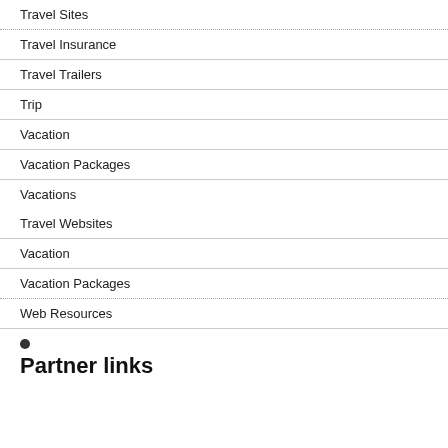Travel Sites
Travel Insurance
Travel Trailers
Trip
Vacation
Vacation Packages
Vacations
Travel Websites
Vacation
Vacation Packages
Web Resources
•
Partner links